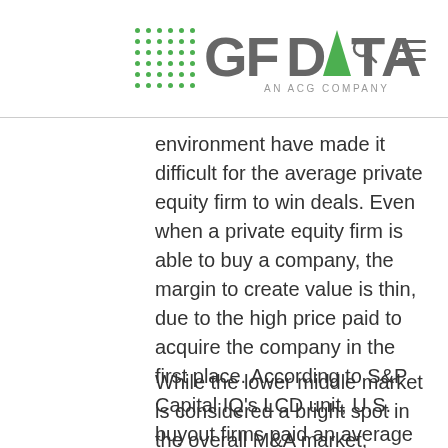GF DATA AN ACG COMPANY
environment have made it difficult for the average private equity firm to win deals. Even when a private equity firm is able to buy a company, the margin to create value is thin, due to the high price paid to acquire the company in the first place. According to S&P Capital IQ’s LCD unit, U.S. buyout firms paid an average of 10.3 times Ebitda for their purchases in 2015. That surpasses the 9.7 times Ebtida seen in 2007.
While the lower middle market is considered a bright spot in the overall M&A market, purchase price multiples also